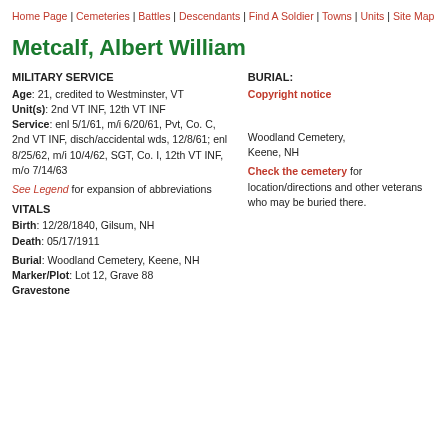Home Page | Cemeteries | Battles | Descendants | Find A Soldier | Towns | Units | Site Map
Metcalf, Albert William
MILITARY SERVICE
Age: 21, credited to Westminster, VT
Unit(s): 2nd VT INF, 12th VT INF
Service: enl 5/1/61, m/i 6/20/61, Pvt, Co. C, 2nd VT INF, disch/accidental wds, 12/8/61; enl 8/25/62, m/i 10/4/62, SGT, Co. I, 12th VT INF, m/o 7/14/63
See Legend for expansion of abbreviations
VITALS
Birth: 12/28/1840, Gilsum, NH
Death: 05/17/1911
Burial: Woodland Cemetery, Keene, NH
Marker/Plot: Lot 12, Grave 88
Gravestone
BURIAL:
Copyright notice
Woodland Cemetery, Keene, NH
Check the cemetery for location/directions and other veterans who may be buried there.